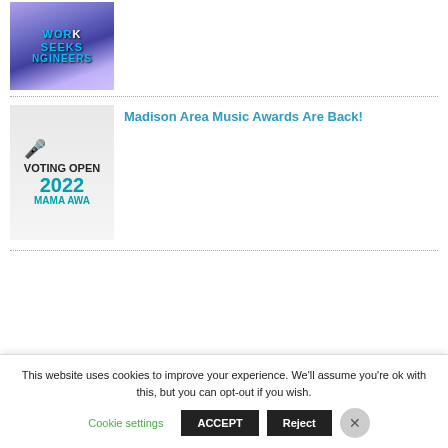[Figure (photo): Thumbnail image showing keyboard with text overlaid: WORK SEEKS ENGINEERS]
[Figure (photo): Thumbnail image for Madison Area Music Awards with text: VOTING OPEN 2022 MAMA AWARDS and a microphone icon]
Madison Area Music Awards Are Back!
This website uses cookies to improve your experience. We'll assume you're ok with this, but you can opt-out if you wish.
Cookie settings   ACCEPT   Reject